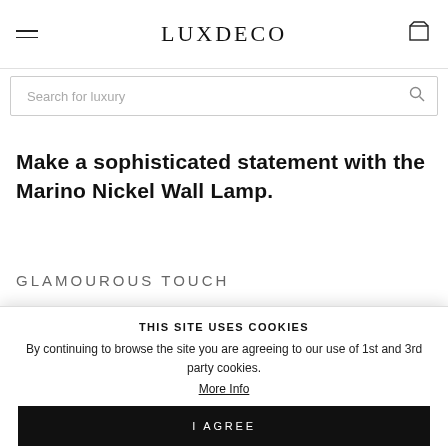LUXDECO
Search for luxury
Make a sophisticated statement with the Marino Nickel Wall Lamp.
GLAMOUROUS TOUCH
THIS SITE USES COOKIES
By continuing to browse the site you are agreeing to our use of 1st and 3rd party cookies.
More Info
I AGREE